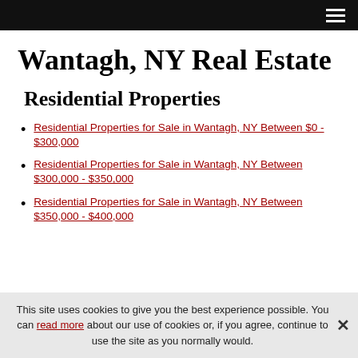Navigation bar with hamburger menu
Wantagh, NY Real Estate
Residential Properties
Residential Properties for Sale in Wantagh, NY Between $0 - $300,000
Residential Properties for Sale in Wantagh, NY Between $300,000 - $350,000
Residential Properties for Sale in Wantagh, NY Between $350,000 - $400,000
This site uses cookies to give you the best experience possible. You can read more about our use of cookies or, if you agree, continue to use the site as you normally would.